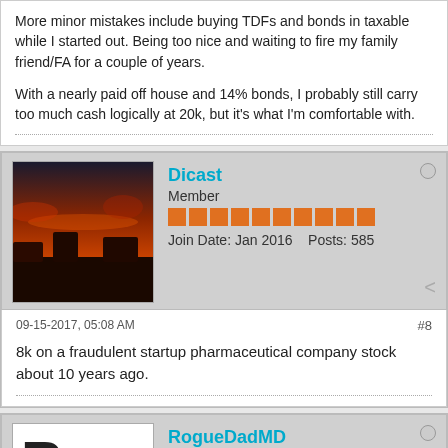More minor mistakes include buying TDFs and bonds in taxable while I started out.  Being too nice and waiting to fire my family friend/FA for a couple of years.

With a nearly paid off house and 14% bonds, I probably still carry too much cash logically at 20k, but it's what I'm comfortable with.
Dicast
Member
Join Date: Jan 2016    Posts: 585
09-15-2017, 05:08 AM
#8
8k on a fraudulent startup pharmaceutical company stock about 10 years ago.
RogueDadMD
Rogue Dad, MD